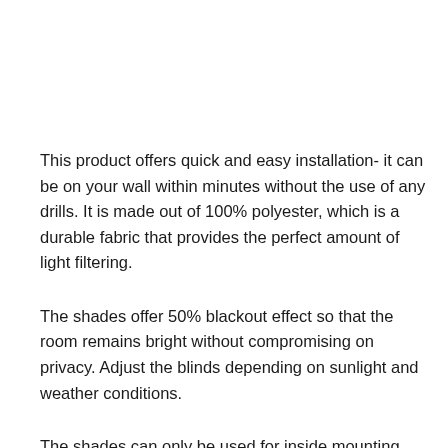This product offers quick and easy installation- it can be on your wall within minutes without the use of any drills. It is made out of 100% polyester, which is a durable fabric that provides the perfect amount of light filtering.
The shades offer 50% blackout effect so that the room remains bright without compromising on privacy. Adjust the blinds depending on sunlight and weather conditions.
The shades can only be used for inside mounting, but customization can be provided